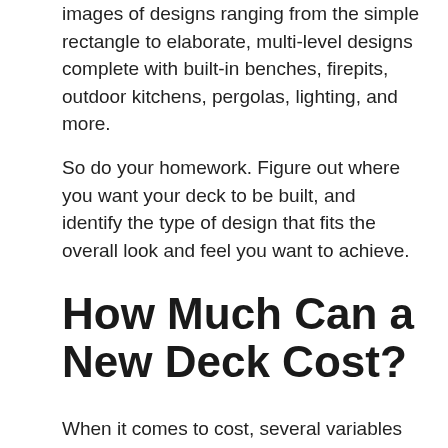images of designs ranging from the simple rectangle to elaborate, multi-level designs complete with built-in benches, firepits, outdoor kitchens, pergolas, lighting, and more.
So do your homework. Figure out where you want your deck to be built, and identify the type of design that fits the overall look and feel you want to achieve.
How Much Can a New Deck Cost?
When it comes to cost, several variables come into